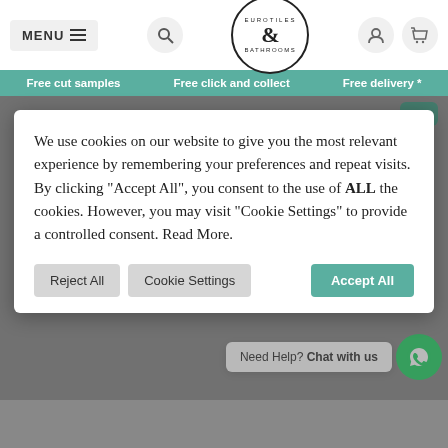MENU | Search | Eurotiles & Bathrooms logo | User icon | Basket icon
Free cut samples   Free click and collect   Free delivery *
We use cookies on our website to give you the most relevant experience by remembering your preferences and repeat visits. By clicking “Accept All”, you consent to the use of ALL the cookies. However, you may visit "Cookie Settings" to provide a controlled consent. Read More.
Reject All   Cookie Settings   Accept All
ASIA
£46.72 – £59.89/m²
INNSBRUCK
£37.46 –
Need Help? Chat with us